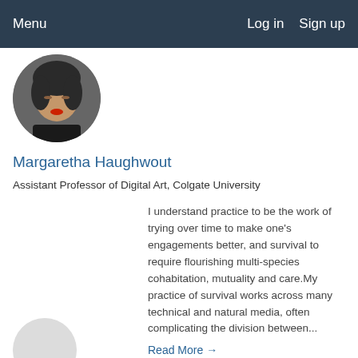Menu   Log in   Sign up
[Figure (photo): Circular profile photo of a woman looking downward, wearing dark clothing with red lips]
Margaretha Haughwout
Assistant Professor of Digital Art, Colgate University
I understand practice to be the work of trying over time to make one's engagements better, and survival to require flourishing multi-species cohabitation, mutuality and care.My practice of survival works across many technical and natural media, often complicating the division between...
Read More →